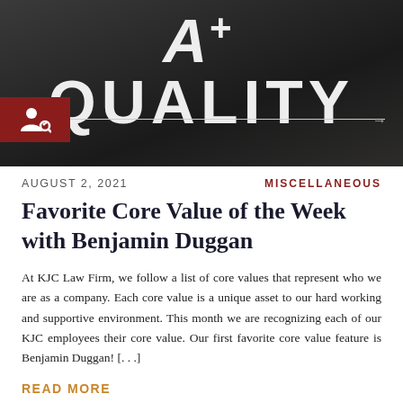[Figure (photo): Dark hero image showing a person in a suit and tie with large bold text overlay reading 'A+ QUALITY'. A red icon bar with a user/settings icon is on the left, with a horizontal line extending right with an arrow.]
AUGUST 2, 2021
MISCELLANEOUS
Favorite Core Value of the Week with Benjamin Duggan
At KJC Law Firm, we follow a list of core values that represent who we are as a company. Each core value is a unique asset to our hard working and supportive environment. This month we are recognizing each of our KJC employees their core value. Our first favorite core value feature is Benjamin Duggan! [. . .]
READ MORE